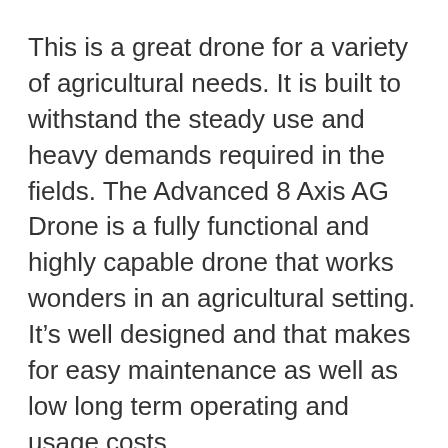This is a great drone for a variety of agricultural needs. It is built to withstand the steady use and heavy demands required in the fields. The Advanced 8 Axis AG Drone is a fully functional and highly capable drone that works wonders in an agricultural setting. It's well designed and that makes for easy maintenance as well as low long term operating and usage costs.
This drone features a high-efficiency brushless motor as a power source and has pretty decent fly time for a larger drone. It has a holding reservoir for water that's powered by a reliable pump to effectively and accurately spray or